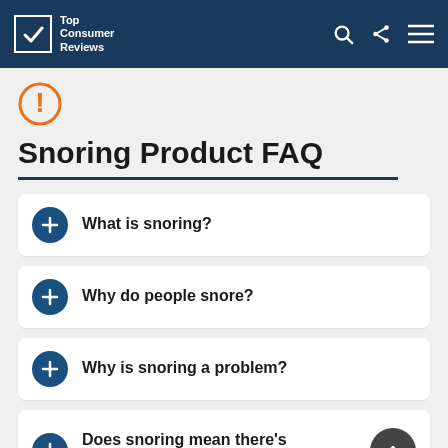Top Consumer Reviews
[Figure (logo): Orange circle with exclamation mark icon]
Snoring Product FAQ
What is snoring?
Why do people snore?
Why is snoring a problem?
Does snoring mean there's something wrong with me?